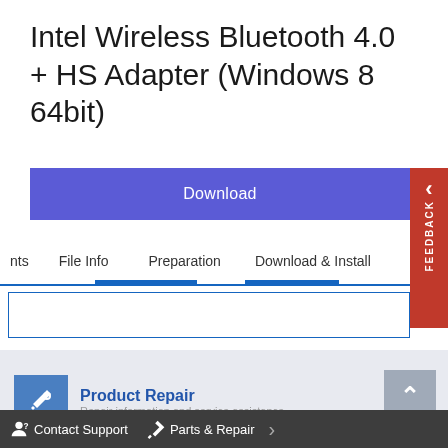Intel Wireless Bluetooth 4.0 + HS Adapter (Windows 8 64bit)
Download
nts   File Info   Preparation   Download & Install
[Figure (screenshot): Navigation tab bar with blue underline indicators]
Product Repair
Repair information and service assistance
Contact Support   Parts & Repair